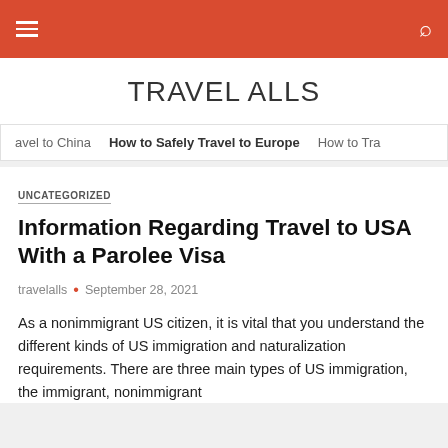TRAVEL ALLS
avel to China   How to Safely Travel to Europe   How to Tra
UNCATEGORIZED
Information Regarding Travel to USA With a Parolee Visa
travelalls • September 28, 2021
As a nonimmigrant US citizen, it is vital that you understand the different kinds of US immigration and naturalization requirements. There are three main types of US immigration, the immigrant, nonimmigrant